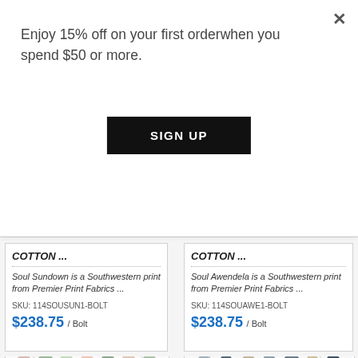Enjoy 15% off on your first orderwhen you spend $50 or more.
SIGN UP
COTTON ...
Soul Sundown is a Southwestern print from Premier Print Fabrics ...
SKU: 114SOUSUN1-BOLT
$238.75 / Bolt
COTTON ...
Soul Awendela is a Southwestern print from Premier Print Fabrics ...
SKU: 114SOUAWE1-BOLT
$238.75 / Bolt
[Figure (photo): Fabric swatch with repeating mountain/hill pattern in muted green and peach tones on white background]
[Figure (photo): Fabric swatch with repeating mountain/hill pattern in navy, tan, and gray tones on white background]